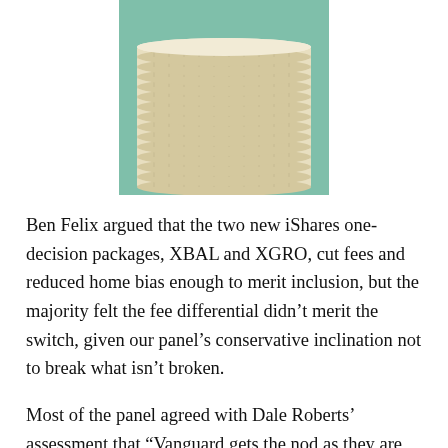[Figure (illustration): Stack of gold/cream colored coins on a teal/green background, viewed from the side showing many stacked coin edges]
Ben Felix argued that the two new iShares one-decision packages, XBAL and XGRO, cut fees and reduced home bias enough to merit inclusion, but the majority felt the fee differential didn't merit the switch, given our panel's conservative inclination not to break what isn't broken.
Most of the panel agreed with Dale Roberts' assessment that "Vanguard gets the nod as they are the provider covering more of the risk suite,